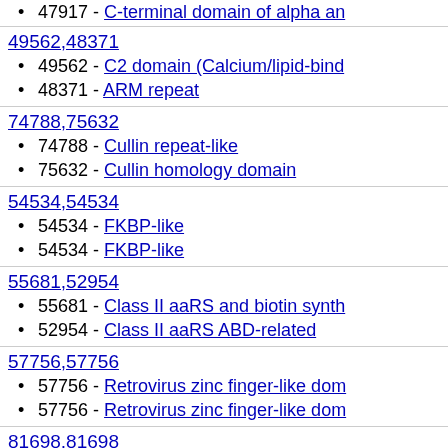47917 - C-terminal domain of alpha an
49562,48371
49562 - C2 domain (Calcium/lipid-bind
48371 - ARM repeat
74788,75632
74788 - Cullin repeat-like
75632 - Cullin homology domain
54534,54534
54534 - FKBP-like
54534 - FKBP-like
55681,52954
55681 - Class II aaRS and biotin synth
52954 - Class II aaRS ABD-related
57756,57756
57756 - Retrovirus zinc finger-like dom
57756 - Retrovirus zinc finger-like dom
81698,81698
81698 - FF domain
81698 - FF domain
55973,55973
55973 - S-adenosylmethionine synthet
55973 - S-adenosylmethionine synthet
51735,56327